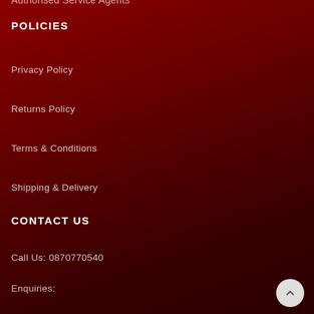Authorised Service Agents
POLICIES
Privacy Policy
Returns Policy
Terms & Conditions
Shipping & Delivery
CONTACT US
Call Us: 0870770540
Enquiries:
info@connoisseur.co.za (Product Support)
Marketing Queries: